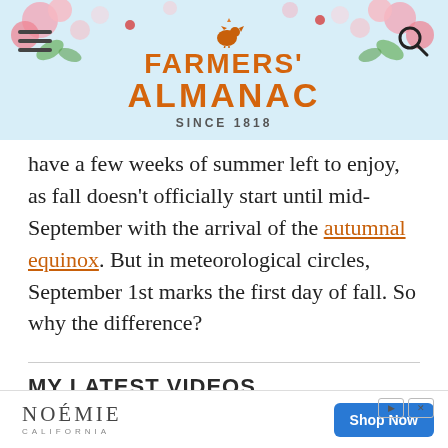[Figure (screenshot): Farmers' Almanac website header with floral background, hamburger menu icon on left, search icon on right, and Farmers' Almanac logo with rooster icon and 'SINCE 1818' text in center]
have a few weeks of summer left to enjoy, as fall doesn’t officially start until mid-September with the arrival of the autumnal equinox. But in meteorological circles, September 1st marks the first day of fall. So why the difference?
MY LATEST VIDEOS
[Figure (screenshot): Video player thumbnail showing purple flowers on left and green background on right, with a black overlay panel containing a play button arrow and text 'The video cannot be']
[Figure (advertisement): Noémie California advertisement banner with shop now button, play and close icons in top right]